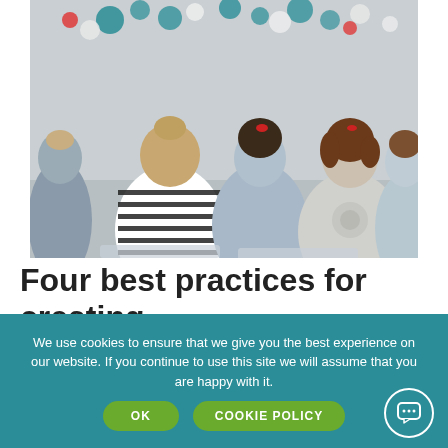[Figure (photo): Group of women seen from behind sitting in chairs at an event or workshop, decorated with colorful paper flowers in the background. Women have various hairstyles; one wears a black-and-white striped top.]
Four best practices for creating
We use cookies to ensure that we give you the best experience on our website. If you continue to use this site we will assume that you are happy with it.